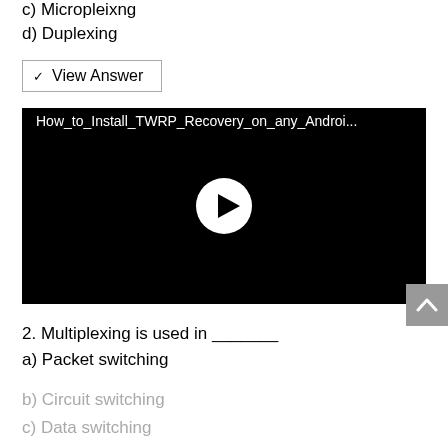c) Micropleixng
d) Duplexing
View Answer
[Figure (screenshot): Black video player thumbnail with title 'How_to_Install_TWRP_Recovery_on_any_Androi...' and a white play button circle in the center]
2. Multiplexing is used in _______
a) Packet switching
b) Circuit switching
c) Data switching